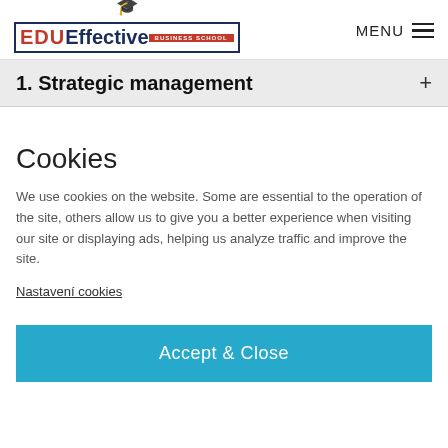EDU Effective Business School | MENU
1. Strategic management +
Cookies
We use cookies on the website. Some are essential to the operation of the site, others allow us to give you a better experience when visiting our site or displaying ads, helping us analyze traffic and improve the site.
Nastavení cookies
Accept & Close